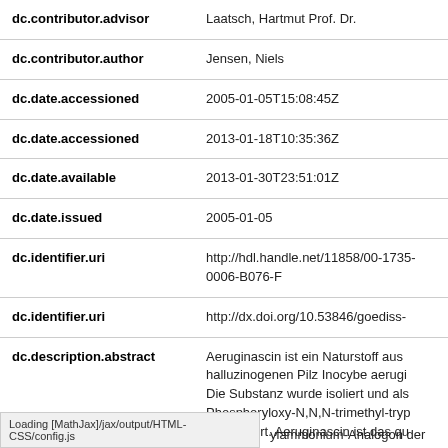| Field | Value |
| --- | --- |
| dc.contributor.advisor | Laatsch, Hartmut Prof. Dr. |
| dc.contributor.author | Jensen, Niels |
| dc.date.accessioned | 2005-01-05T15:08:45Z |
| dc.date.accessioned | 2013-01-18T10:35:36Z |
| dc.date.available | 2013-01-30T23:51:01Z |
| dc.date.issued | 2005-01-05 |
| dc.identifier.uri | http://hdl.handle.net/11858/00-1735-0006-B076-F |
| dc.identifier.uri | http://dx.doi.org/10.53846/goediss- |
| dc.description.abstract | Aeruginascin ist ein Naturstoff aus halluzinogenen Pilz Inocybe aerugi Die Substanz wurde isoliert und als Phosphoryloxy-N,N,N-trimethyl-tryp identifiziert. Aeruginascin ist das qu ylammonium-Analogon der |
Loading [MathJax]/jax/output/HTML-CSS/config.js